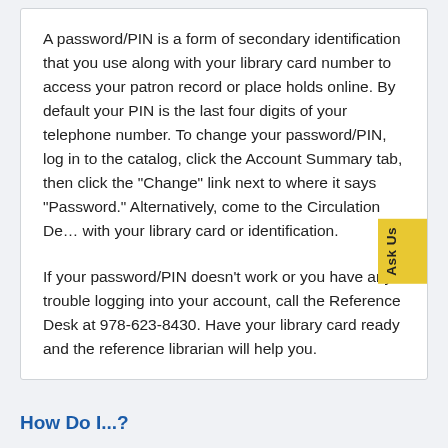A password/PIN is a form of secondary identification that you use along with your library card number to access your patron record or place holds online. By default your PIN is the last four digits of your telephone number. To change your password/PIN, log in to the catalog, click the Account Summary tab, then click the "Change" link next to where it says "Password." Alternatively, come to the Circulation Desk with your library card or identification.
If your password/PIN doesn't work or you have any trouble logging into your account, call the Reference Desk at 978-623-8430. Have your library card ready and the reference librarian will help you.
How Do I...?